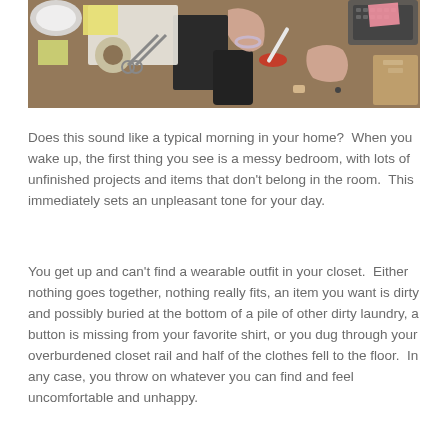[Figure (photo): Overhead view of a messy desk with hands, scissors, tape, phone, notebooks, sticky notes, keyboard, and various office supplies scattered around.]
Does this sound like a typical morning in your home?  When you wake up, the first thing you see is a messy bedroom, with lots of unfinished projects and items that don't belong in the room.  This immediately sets an unpleasant tone for your day.
You get up and can't find a wearable outfit in your closet.  Either nothing goes together, nothing really fits, an item you want is dirty and possibly buried at the bottom of a pile of other dirty laundry, a button is missing from your favorite shirt, or you dug through your overburdened closet rail and half of the clothes fell to the floor.  In any case, you throw on whatever you can find and feel uncomfortable and unhappy.